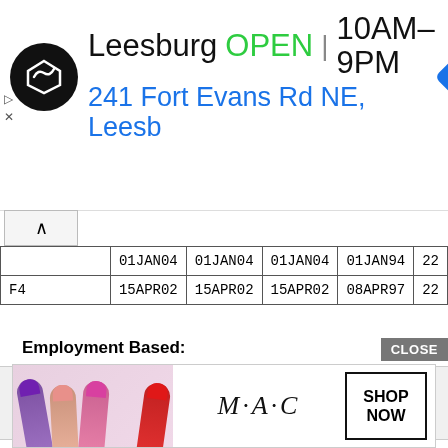[Figure (screenshot): Advertisement banner for a store in Leesburg showing OPEN status, hours 10AM-9PM, and address 241 Fort Evans Rd NE, Leesb]
|  | 01JAN04 | 01JAN04 | 01JAN04 | 01JAN94 | 22 |
| F4 | 15APR02 | 15APR02 | 15APR02 | 08APR97 | 22 |
Employment Based:
[Figure (screenshot): Advertisement for M·A·C cosmetics showing lipstick products with SHOP NOW button and CLOSE button]